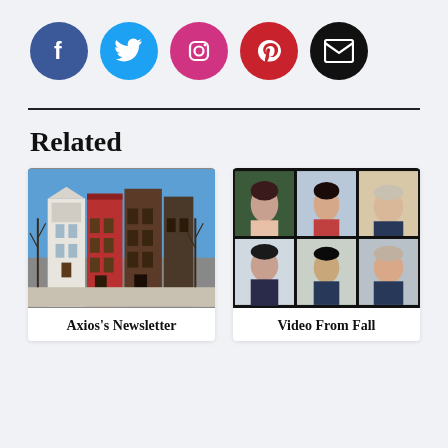[Figure (infographic): Row of five social media icon circles: Facebook (blue), Twitter (cyan), Instagram (pink/magenta), Pinterest (red), Email/envelope (black)]
Related
[Figure (photo): Photo of colorful row houses — red brick, white, and dark brick townhouses on a city street with bare trees and blue sky]
Axios's Newsletter
[Figure (screenshot): Screenshot of a video conference call with six participants in a 2x3 grid — people in home/office backgrounds]
Video From Fall